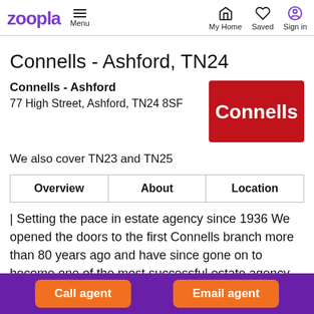zoopla  Menu  My Home  Saved  Sign in
Connells - Ashford, TN24
Connells - Ashford
77 High Street, Ashford, TN24 8SF
[Figure (logo): Connells estate agency logo — red background with white 'Connells' text]
We also cover TN23 and TN25
| Overview | About | Location |
| --- | --- | --- |
| Setting the pace in estate agency since 1936 We opened the doors to the first Connells branch more than 80 years ago and have since gone on to become one of the most successful estate agency groups in the UK. We have over 180 branches
Call agent  Email agent